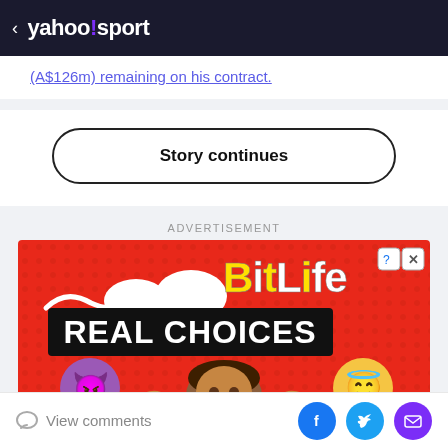< yahoo!sport
(A$126m) remaining on his contract.
Story continues
ADVERTISEMENT
[Figure (illustration): BitLife app advertisement. Red dotted background with sperm icon and speech bubble. Title 'BitLife' in yellow and white bold text. Below: 'REAL CHOICES' in large white text on black banner. Three characters shown: purple devil emoji, a dark-skinned person, and a yellow angel emoji. Small question-mark and X icons in top right corner.]
View comments
Social share buttons: Facebook, Twitter, Email